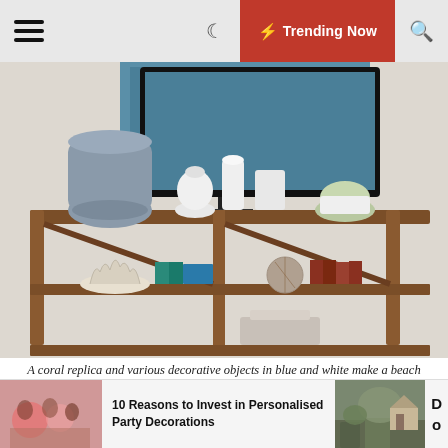≡  🌙  ⚡ Trending Now  🔍
[Figure (photo): A wooden mid-century modern shelving unit with decorative objects: a large gray ceramic vase, white decorative objects, coral replica, books, a TV on top, and a small plant. Styled as a beach/coastal living room.]
A coral replica and various decorative objects in blue and white make a beach style statement. Image: Maegan Swabb
Shop These Products Now: Wall Painting – Vase Decor
Collect this idea
[Figure (photo): Bottom partial image of a room with teal/mint cushions visible at top]
10 Reasons to Invest in Personalised Party Decorations
[Figure (photo): Thumbnail of a garden/outdoor scene]